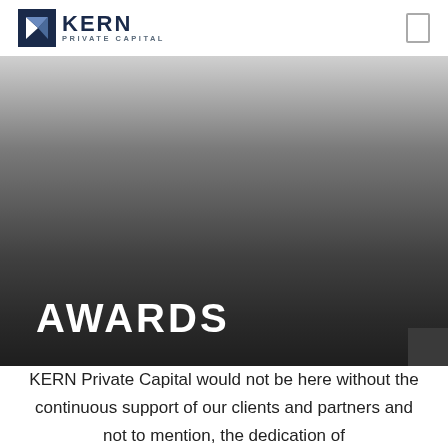[Figure (logo): Kern Private Capital logo with blue diamond K icon, bold navy KERN text and PRIVATE CAPITAL subtitle]
[Figure (illustration): Dark gradient hero banner transitioning from light grey at top to near-black at bottom, with a rectangular menu icon in top right corner]
AWARDS
KERN Private Capital would not be here without the continuous support of our clients and partners and not to mention, the dedication of